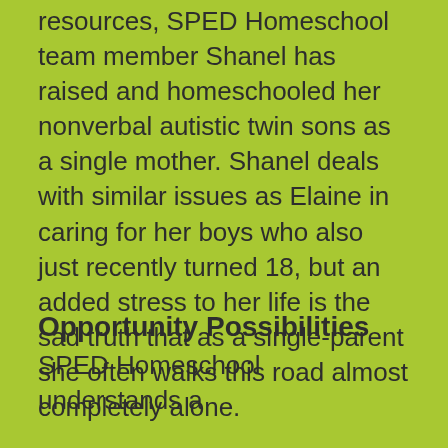resources, SPED Homeschool team member Shanel has raised and homeschooled her nonverbal autistic twin sons as a single mother. Shanel deals with similar issues as Elaine in caring for her boys who also just recently turned 18, but an added stress to her life is the sad truth that as a single-parent she often walks this road almost completely alone.
Opportunity Possibilities
SPED Homeschool understands a